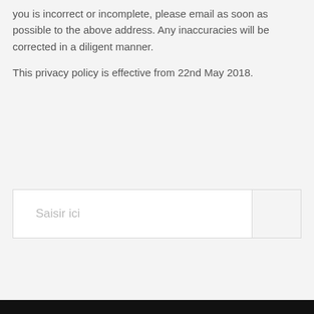you is incorrect or incomplete, please email as soon as possible to the above address. Any inaccuracies will be corrected in a diligent manner.
This privacy policy is effective from 22nd May 2018.
Saisir ici